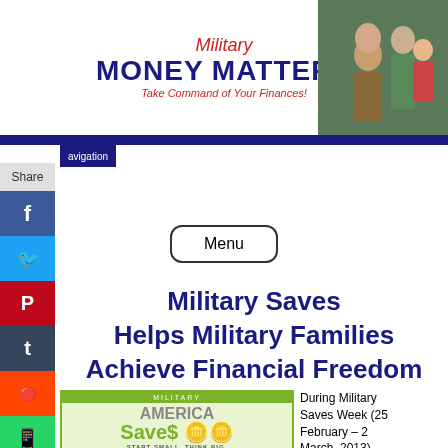[Figure (screenshot): Military Money Matters website header with soldier on left, family on right, logo in center reading 'Military MONEY MATTERS – Take Command of Your Finances!']
[Figure (screenshot): Social media share buttons sidebar: Share label, Facebook, Twitter, Pinterest, Tumblr, Reddit, WhatsApp, Messenger]
Menu
Military Saves Helps Military Families Achieve Financial Freedom
[Figure (logo): Military America Saves logo: green background, 'MILITARY' text, large 'AMERICA' in gray, 'SaveS' in green with dollar sign, coin graphics, 'START SMALL. THINK BIG.' tagline]
During Military Saves Week (25 February – 2 March, 2013), military commands